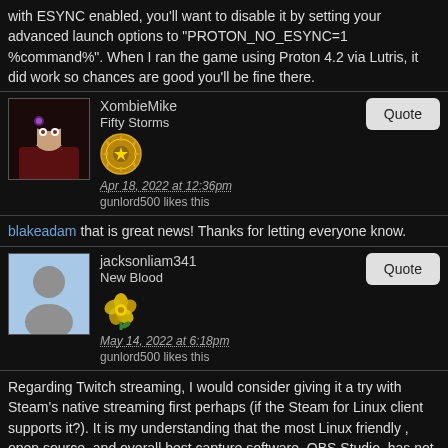with ESYNC enabled, you'll want to disable it by setting your advanced launch options to "PROTON_NO_ESYNC=1 %command%". When I ran the game using Proton 4.2 via Lutris, it did work so chances are good you'll be fine there.
XombieMike
Fifty Storms
Apr 18, 2022 at 12:36pm
gunlord500 likes this
blakeadam that is great news! Thanks for letting everyone know.
jacksonliam341
New Blood
May 14, 2022 at 6:18pm
gunlord500 likes this
Regarding Twitch streaming, I would consider giving it a try with Steam's native streaming first perhaps (if the Steam for Linux client supports it?). It is my understanding that the most Linux friendly , open source, and overall best capture software, OBS Studio, has not yet implemented support for capturing/streaming of Vulkan using content, no matter the OS. I know it is one of the major features requested and is on the docket for implementation, but if it hasn't yet been added then I can think that